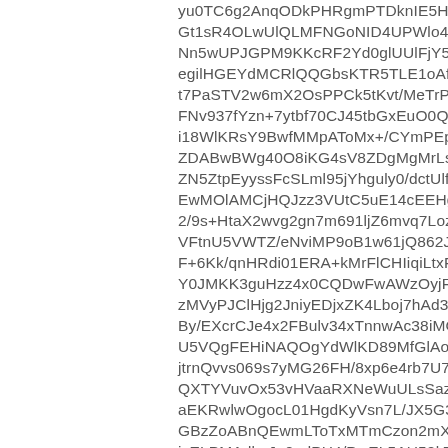yu0TC6g2AnqODkPHRgmPTDknIE5HB2EQgbulO Gt1sR4OLwUlQLMFNGoNID4UPWlo4OjgBgS9hKD Nn5wUPJGPM9KKcRF2Yd0glUUlFjY5iKPUFRFXu egilHGEYdMCRlQQGbsKTR5TLE1oAf+aTmJ0ccmhC t7PaSTV2w6mX2OsPPCk5tKvt/MeTrPuAfk5MyfQp FNv937fYzn+7ytbf70CJ45tbGxEuO0QQ6XVEQ2Sr i18WlKRsY9BwfMMpAToMx+/CYmPEpREZAlDhw ZDABwBWg40O8iKG4sV8ZDgMgMrLsgggPMCgl ZN5ZtpEyyssFcSLml95jYhguly0/dctUlfKJNiBP4g EwMOlAMCjHQJzz3VUtC5uE14cEEHgQ4AbkwZcC 2/9s+HtaX2wvg2gn7m691ljZ6mvq7LozLpENscdk VFtnU5VWTZ/eNviMP9oB1w61jQ862Jbp08/Thr F+6Kk/qnHRdi01ERA+kMrFlCHIiqiLtxFheRlnnt1Vdf Y0JMKK3guHzz4x0CQDwFwAWzOyjRml+GKEhYE zMVyPJClHjg2JniyEDjxZK4Lboj7hAd3cOLMMwMc By/EXcrCJe4x2FBulv34xTnnwAc38iMO4SAcTPxC U5VQgFEHiNAQOgYdWlKD89MfGlAobyjAUHCSHI jtrnQvvs069s7yMG26FH/8xp6e4rb7U7zr3KOojier QXTYVuvOx53vHVaaRXNeWuULsSaznNT4pst4zv aEKRwlwOgocL01HgdKyVsn7L/JX5G3Nw/BA9UV GBzZoABnQEwmLToTxMTmCzon2mXwx5817bDH icELPMAdlmJa0qdPH4/PwEL5AU52kT9A+pzgws/